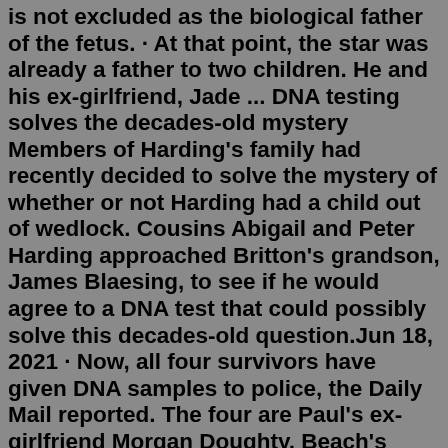is not excluded as the biological father of the fetus. · At that point, the star was already a father to two children. He and his ex-girlfriend, Jade ... DNA testing solves the decades-old mystery Members of Harding's family had recently decided to solve the mystery of whether or not Harding had a child out of wedlock. Cousins Abigail and Peter Harding approached Britton's grandson, James Blaesing, to see if he would agree to a DNA test that could possibly solve this decades-old question.Jun 18, 2021 · Now, all four survivors have given DNA samples to police, the Daily Mail reported. The four are Paul's ex-girlfriend Morgan Doughty, Beach's boyfriend, Anthony Cook, his cousin, Connor Cook ... Tip #1: Avoid fly-by-nights. This tip is actually easier said than done. Many companies can put on a good show. They can have a great-looking interface, easy-to-use software, and down-to-earth publications. They can even offer great deals. But you have to look beyond the surface. You have to do your homework. Mar 25, 2015 · The skeleton of Richard III, the last Plantagenet king, was